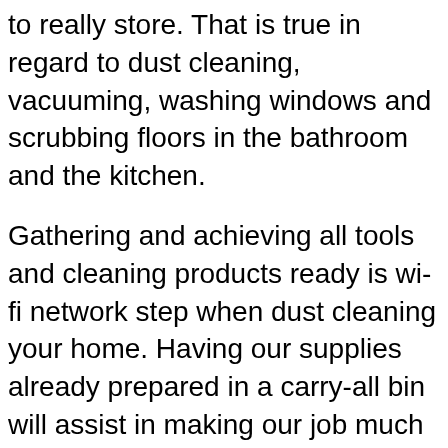to really store. That is true in regard to dust cleaning, vacuuming, washing windows and scrubbing floors in the bathroom and the kitchen.
Gathering and achieving all tools and cleaning products ready is wi-fi network step when dust cleaning your home. Having our supplies already prepared in a carry-all bin will assist in making our job much faster and save us the time from searching the house for your kids. The goal is to get out and in while still achieving a clean.
The importance of the Spring cleaning ritual isn't understood by men. The most common male step to a get assistance with Spring cleaning is: “What, now?”. Women must don’t fall into the trap of answering: “No, let’s get out until Autumn” men will not detect the hint of sarcasm and should be fishing